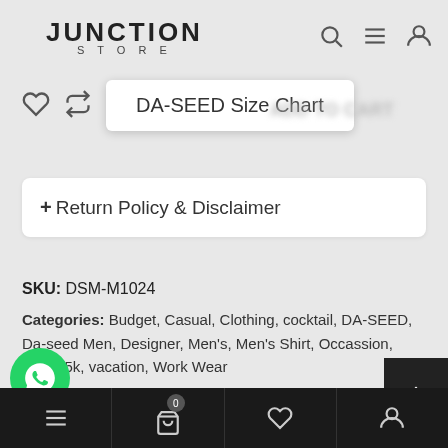JUNCTION STORE
DA-SEED Size Chart
+Return Policy & Disclaimer
SKU: DSM-M1024
Categories: Budget, Casual, Clothing, cocktail, DA-SEED, Da-seed Men, Designer, Men's, Men's Shirt, Occassion, under 5k, vacation, Work Wear
Tags: apparel for men, buy clothes online, cheap clothes online, clothes sites online, Clothing, Clothing online, Da seed, designer collec... des...it, designer shirt, designer shop, discount, fashion... Grey...indian designer, indian multi designer store offers, indian
0